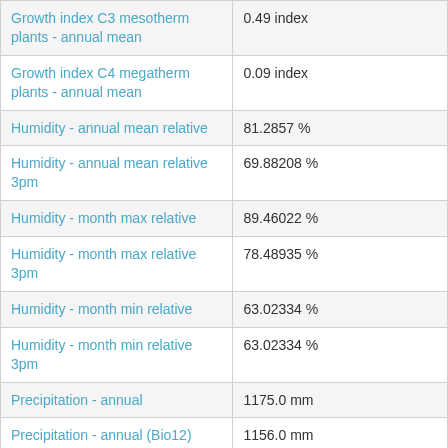| Attribute | Value |
| --- | --- |
| Growth index C3 mesotherm plants - annual mean | 0.49 index |
| Growth index C4 megatherm plants - annual mean | 0.09 index |
| Humidity - annual mean relative | 81.2857 % |
| Humidity - annual mean relative 3pm | 69.88208 % |
| Humidity - month max relative | 89.46022 % |
| Humidity - month max relative 3pm | 78.48935 % |
| Humidity - month min relative | 63.02334 % |
| Humidity - month min relative 3pm | 63.02334 % |
| Precipitation - annual | 1175.0 mm |
| Precipitation - annual (Bio12) | 1156.0 mm |
| Precipitation - annual mean | 99.66193 mm |
| Precipitation - annual | 0.5880549 |